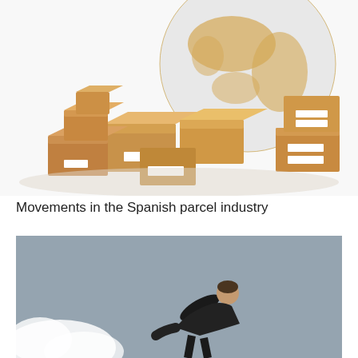[Figure (photo): Cardboard shipping boxes and packages stacked in front of a globe on a white background, representing global parcel delivery and logistics.]
Movements in the Spanish parcel industry
[Figure (photo): A businessman in a dark suit bending forward, photographed from the side against a grey background with a white cloud or smoke element at the bottom left.]